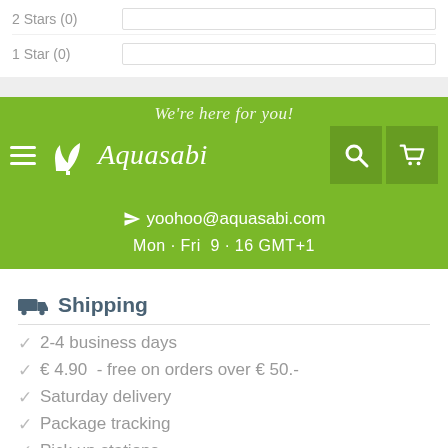2 Stars (0)
1 Star (0)
[Figure (screenshot): Aquasabi website navigation bar with green background, hamburger menu, logo, search and cart icons]
yoohoo@aquasabi.com
Mon - Fri  9 - 16 GMT+1
Shipping
2-4 business days
€ 4.90  - free on orders over € 50.-
Saturday delivery
Package tracking
Pick up stations